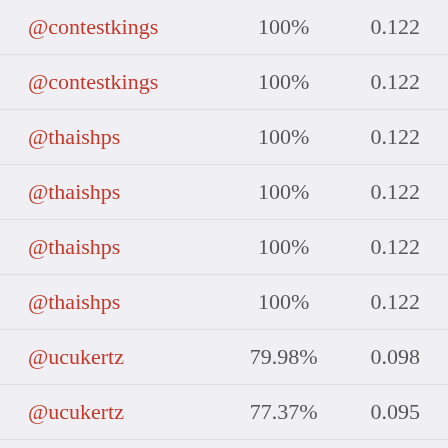| @contestkings | 100% | 0.122 |
| @contestkings | 100% | 0.122 |
| @thaishps | 100% | 0.122 |
| @thaishps | 100% | 0.122 |
| @thaishps | 100% | 0.122 |
| @thaishps | 100% | 0.122 |
| @ucukertz | 79.98% | 0.098 |
| @ucukertz | 77.37% | 0.095 |
| @ucukertz | 76.81% | 0.094 |
| @ucukertz | 72.98% | 0.09 |